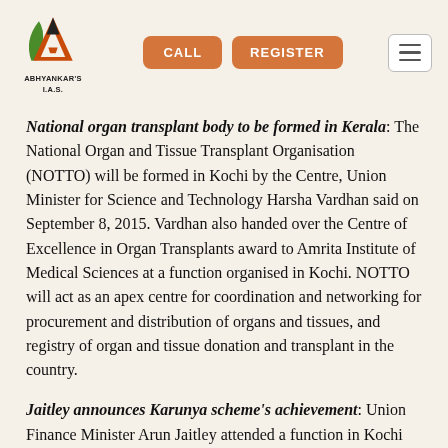[Figure (logo): Abhyankar's IAS logo with stylized A in orange and green, text 'ABHYANKAR'S I.A.S.' below]
CALL
REGISTER
National organ transplant body to be formed in Kerala: The National Organ and Tissue Transplant Organisation (NOTTO) will be formed in Kochi by the Centre, Union Minister for Science and Technology Harsha Vardhan said on September 8, 2015. Vardhan also handed over the Centre of Excellence in Organ Transplants award to Amrita Institute of Medical Sciences at a function organised in Kochi. NOTTO will act as an apex centre for coordination and networking for procurement and distribution of organs and tissues, and registry of organ and tissue donation and transplant in the country.
Jaitley announces Karunya scheme's achievement: Union Finance Minister Arun Jaitley attended a function in Kochi on September 10, 2015 to celebrate the